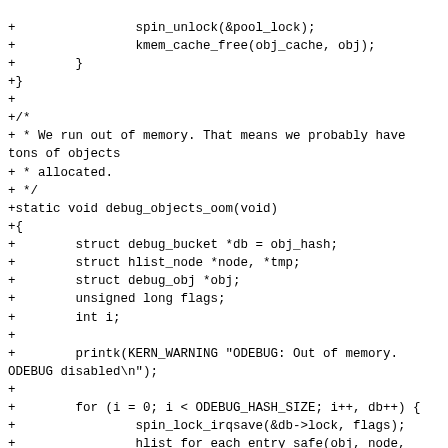+                spin_unlock(&pool_lock);
+                kmem_cache_free(obj_cache, obj);
+        }
+}
+
+/*
+ * We run out of memory. That means we probably have tons of objects
+ * allocated.
+ */
+static void debug_objects_oom(void)
+{
+        struct debug_bucket *db = obj_hash;
+        struct hlist_node *node, *tmp;
+        struct debug_obj *obj;
+        unsigned long flags;
+        int i;
+
+        printk(KERN_WARNING "ODEBUG: Out of memory. ODEBUG disabled\n");
+
+        for (i = 0; i < ODEBUG_HASH_SIZE; i++, db++) {
+                spin_lock_irqsave(&db->lock, flags);
+                hlist_for_each_entry_safe(obj, node,
 tmp, &db->list, node) {
+                        hlist_del(&obj->node);
+                        free_object(obj);
+                }
+                spin_unlock_irqrestore(&db->lock,
flags);